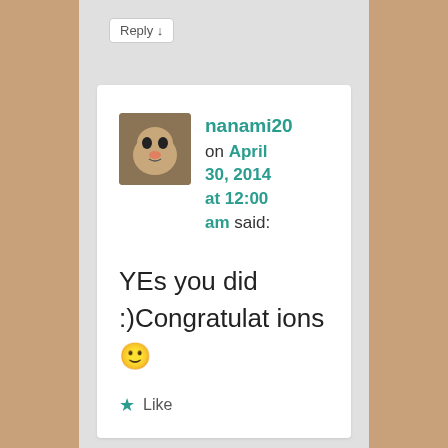Reply ↓
nanami20 on April 30, 2014 at 12:00 am said:
YEs you did :)Congratulations 🙂
Like